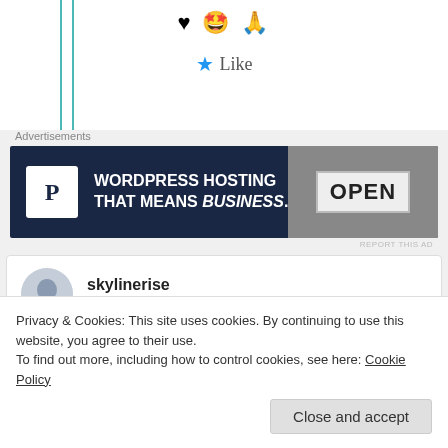♥ 🤩 🙏
★ Like
Advertisements
[Figure (screenshot): WordPress hosting advertisement banner: dark navy background with white 'P' logo box on left, text 'WORDPRESS HOSTING THAT MEANS BUSINESS.' in white bold, and an 'OPEN' sign photo on right]
REPORT THIS AD
skylinerise
25th Jun 2021 at 6:38 pm
beautiful!!!! lovely poetry!!
Privacy & Cookies: This site uses cookies. By continuing to use this website, you agree to their use.
To find out more, including how to control cookies, see here: Cookie Policy
Close and accept